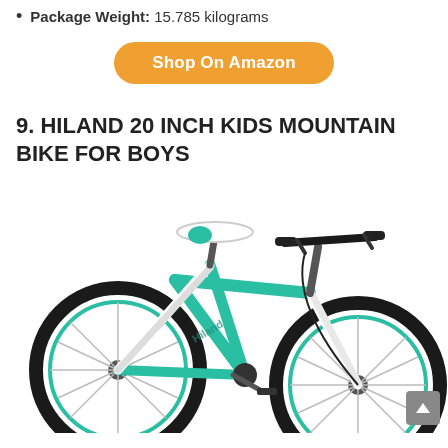Package Weight: 15.785 kilograms
Shop On Amazon
9. HILAND 20 INCH KIDS MOUNTAIN BIKE FOR BOYS
[Figure (photo): Photo of a teal/mint colored Hiland 20-inch kids mountain bike for boys, shown from the side on a white background.]